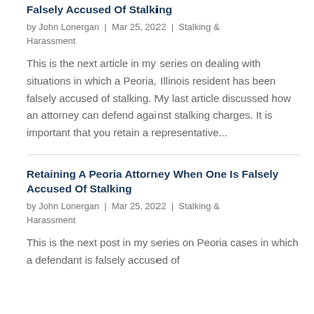Falsely Accused Of Stalking
by John Lonergan | Mar 25, 2022 | Stalking & Harassment
This is the next article in my series on dealing with situations in which a Peoria, Illinois resident has been falsely accused of stalking. My last article discussed how an attorney can defend against stalking charges. It is important that you retain a representative...
Retaining A Peoria Attorney When One Is Falsely Accused Of Stalking
by John Lonergan | Mar 25, 2022 | Stalking & Harassment
This is the next post in my series on Peoria cases in which a defendant is falsely accused of